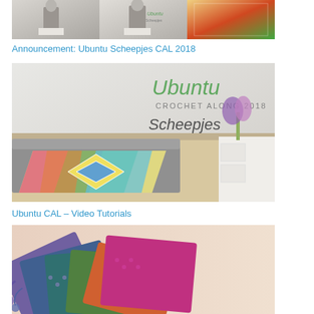[Figure (photo): Three side-by-side photos of crochet blankets and people holding them]
Announcement: Ubuntu Scheepjes CAL 2018
[Figure (photo): Large photo of Ubuntu Crochet Along 2018 Scheepjes blanket draped on a sofa with logo text overlay]
Ubuntu CAL – Video Tutorials
[Figure (photo): Photo of colorful crochet squares/swatches arranged in a fan pattern on a light background]